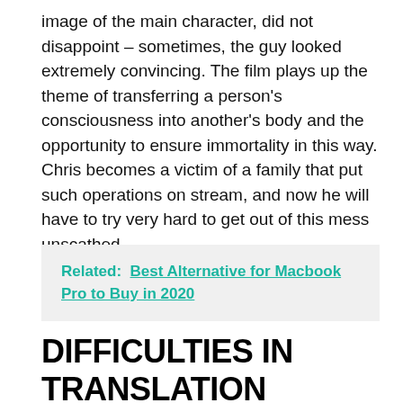image of the main character, did not disappoint – sometimes, the guy looked extremely convincing. The film plays up the theme of transferring a person's consciousness into another's body and the opportunity to ensure immortality in this way. Chris becomes a victim of a family that put such operations on stream, and now he will have to try very hard to get out of this mess unscathed.
Related:  Best Alternative for Macbook Pro to Buy in 2020
DIFFICULTIES IN TRANSLATION